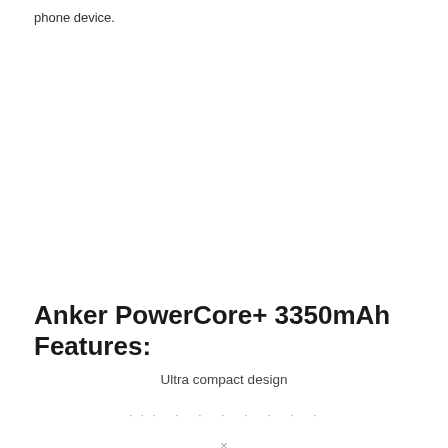phone device.
Anker PowerCore+ 3350mAh Features:
Ultra compact design
... . . . . .
×